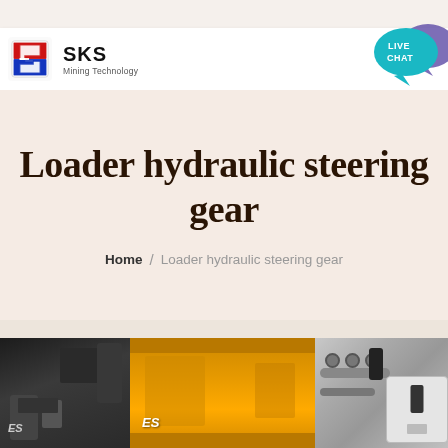[Figure (logo): SKS Mining Technology logo with red and blue angular S icon]
[Figure (other): Live Chat button - teal speech bubble with LIVE CHAT text and decorative speech bubble graphic in purple/teal]
Loader hydraulic steering gear
Home / Loader hydraulic steering gear
[Figure (photo): Bottom strip showing partial photos of hydraulic machinery components - black machinery on left, yellow/orange equipment in center with CES label, metallic hydraulic components on right]